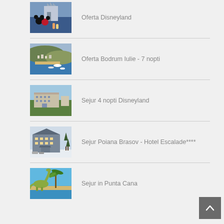Oferta Disneyland
Oferta Bodrum Iulie - 7 nopti
Sejur 4 nopti Disneyland
Sejur Poiana Brasov - Hotel Escalade****
Sejur in Punta Cana